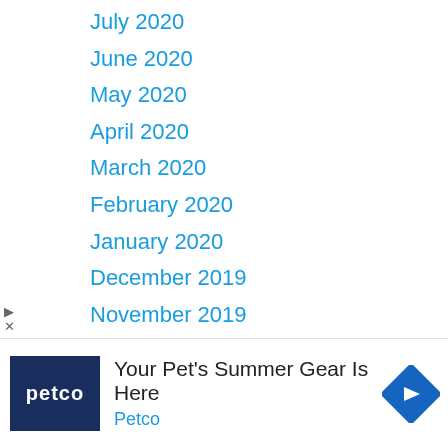July 2020
June 2020
May 2020
April 2020
March 2020
February 2020
January 2020
December 2019
November 2019
October 2019
August 2019
July 2019
[Figure (infographic): Petco advertisement banner: dark navy square logo with 'petco' text in white, headline 'Your Pet’s Summer Gear Is Here', subtext 'Petco' in blue, and a blue diamond-shaped arrow icon on the right.]